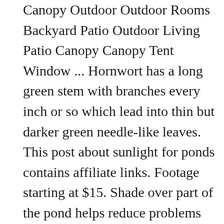Canopy Outdoor Outdoor Rooms Backyard Patio Outdoor Living Patio Canopy Canopy Tent Window ... Hornwort has a long green stem with branches every inch or so which lead into thin but darker green needle-like leaves. This post about sunlight for ponds contains affiliate links. Footage starting at $15. Shade over part of the pond helps reduce problems with algae and is tolerated by many pond plants and animals. 18 to 24 inches tall. Some aquatic and marginal plants provide shade during the hot summer months and through the fall. Best Sellers Customer Service Today's Deals New Releases Find a Gift Whole Foods Gift Cards Registry Sell AmazonBasics Coupons Free Shipping #FoundItOnAmazon Shopper Toolkit